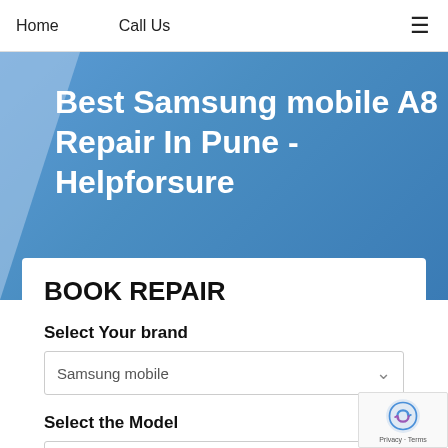Home   Call Us
Best Samsung mobile A8 Repair In Pune - Helpforsure
BOOK REPAIR
Select Your brand
Samsung mobile
Select the Model
galaxy j2